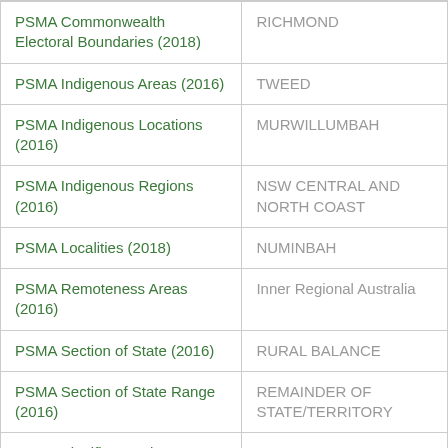| PSMA Commonwealth Electoral Boundaries (2018) | RICHMOND |
| PSMA Indigenous Areas (2016) | TWEED |
| PSMA Indigenous Locations (2016) | MURWILLUMBAH |
| PSMA Indigenous Regions (2016) | NSW CENTRAL AND NORTH COAST |
| PSMA Localities (2018) | NUMINBAH |
| PSMA Remoteness Areas (2016) | Inner Regional Australia |
| PSMA Section of State (2016) | RURAL BALANCE |
| PSMA Section of State Range (2016) | REMAINDER OF STATE/TERRITORY |
| PSMA Significant Urban Area (2016) | NOT IN ANY SIGNIFICANT URBAN AREA (NSW) |
| PSMA State Electoral Boundaries (2016) | LEGISLATIVE COUNCIL |
| PSMA State Electoral Boundaries | LISMORE |